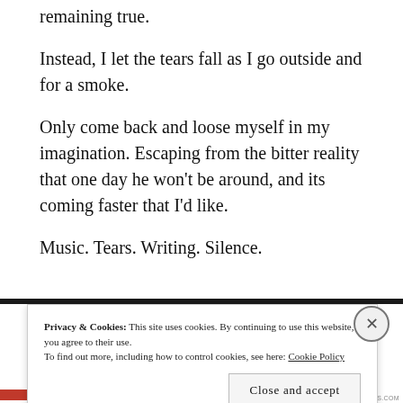remaining true.
Instead, I let the tears fall as I go outside and for a smoke.
Only come back and loose myself in my imagination. Escaping from the bitter reality that one day he won't be around, and its coming faster that I'd like.
Music. Tears. Writing. Silence.
Privacy & Cookies: This site uses cookies. By continuing to use this website, you agree to their use.
To find out more, including how to control cookies, see here: Cookie Policy
Close and accept